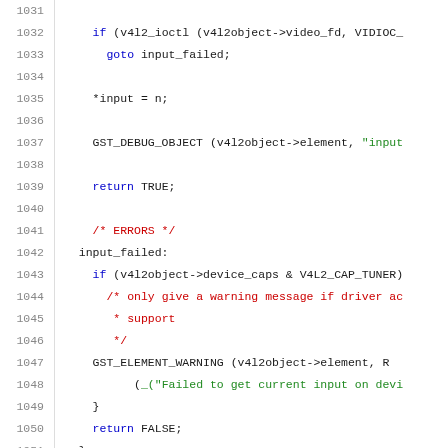Code listing lines 1031-1052, C source code with syntax highlighting showing v4l2 input handling logic including error handling with goto, GST_DEBUG_OBJECT, return TRUE/FALSE, and GST_ELEMENT_WARNING calls.